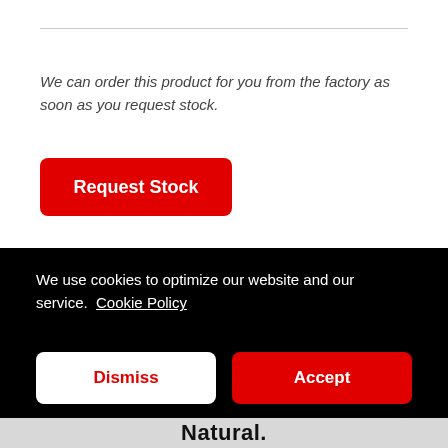We can order this product for you from the factory as soon as you request stock.
[Figure (screenshot): Red 'Request Stock' button with white bold text on a red rounded rectangle background.]
We use cookies to optimize our website and our service. Cookie Policy
[Figure (screenshot): White 'Dismiss' button with red text and a red 'Accept' button with white text, both in the cookie consent banner.]
Natural.